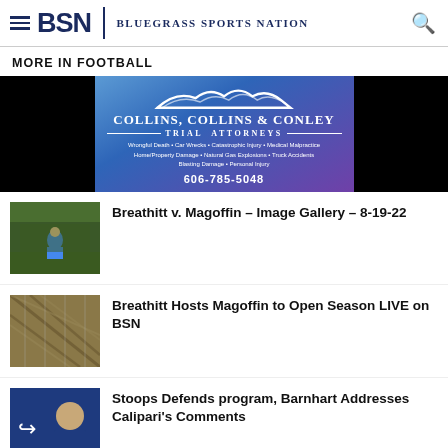BSN | Bluegrass Sports Nation
MORE IN FOOTBALL
[Figure (photo): Collins, Collins & Conley Trial Attorneys advertisement banner with mountain logo, phone number 606-785-5048]
[Figure (photo): Football player in blue uniform on field - thumbnail for Breathitt v. Magoffin article]
Breathitt v. Magoffin – Image Gallery – 8-19-22
[Figure (photo): Chain link fence close-up - thumbnail for Breathitt Hosts Magoffin article]
Breathitt Hosts Magoffin to Open Season LIVE on BSN
[Figure (photo): Person in blue - thumbnail for Stoops Defends program article]
Stoops Defends program, Barnhart Addresses Calipari's Comments